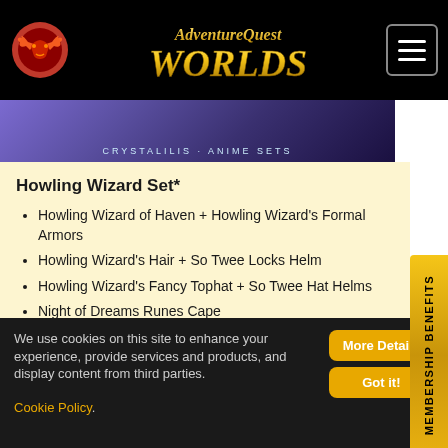AdventureQuest Worlds
[Figure (screenshot): Banner image showing Crystalilis + Anime Sets promotional graphic with purple/blue fantasy art]
Howling Wizard Set*
Howling Wizard of Haven + Howling Wizard's Formal Armors
Howling Wizard's Hair + So Twee Locks Helm
Howling Wizard's Fancy Tophat + So Twee Hat Helms
Night of Dreams Runes Cape
Howling Wizard's Wings Cape
Howling Wizard's Cloak Cape
We use cookies on this site to enhance your experience, provide services and products, and display content from third parties. Cookie Policy.